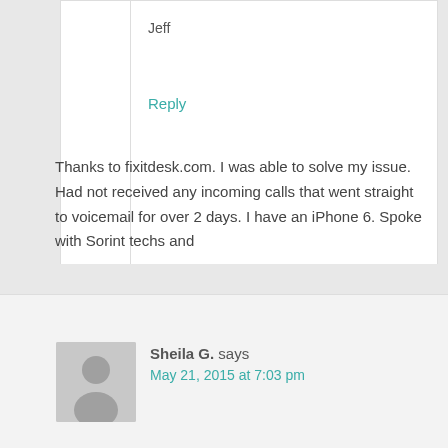Jeff
Reply
Sheila G. says
May 21, 2015 at 7:03 pm
Thanks to fixitdesk.com. I was able to solve my issue. Had not received any incoming calls that went straight to voicemail for over 2 days. I have an iPhone 6. Spoke with Sorint techs and